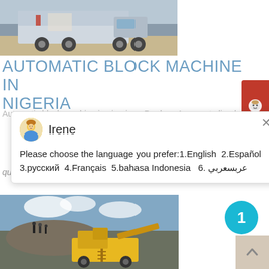[Figure (photo): A large industrial truck/mobile machine on a paved surface, possibly a concrete mixer or block machine unit]
AUTOMATIC BLOCK MACHINE IN NIGERIA
Automatic block machine in Nigeria... (partially visible)
[Figure (screenshot): Chat popup with avatar of Irene, showing language selection message: Please choose the language you prefer:1.English 2.Español 3.русский 4.Français 5.bahasa Indonesia 6. عربسعربي]
quarry, aggregate, and different kinds of minerals.
get price
[Figure (photo): Yellow heavy mining/crushing machinery on a rocky quarry site with people standing on a rocky hill in the background]